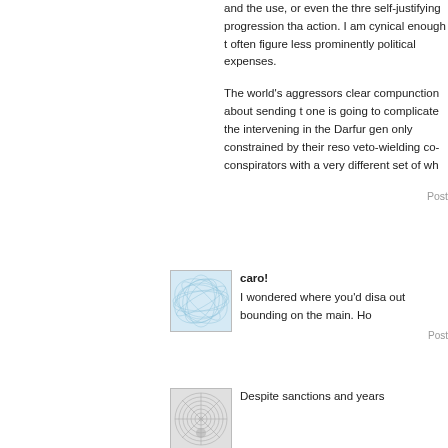and the use, or even the thre self-justifying progression tha action. I am cynical enough t often figure less prominently political expenses.
The world's aggressors clear compunction about sending t one is going to complicate the intervening in the Darfur gen only constrained by their reso veto-wielding co-conspirators with a very different set of wh
Post
[Figure (illustration): Abstract blue geometric pattern avatar image for commenter caro!]
caro!
I wondered where you'd disa out bounding on the main. Ho
Post
[Figure (illustration): Abstract circular pattern avatar image for third commenter]
Despite sanctions and years